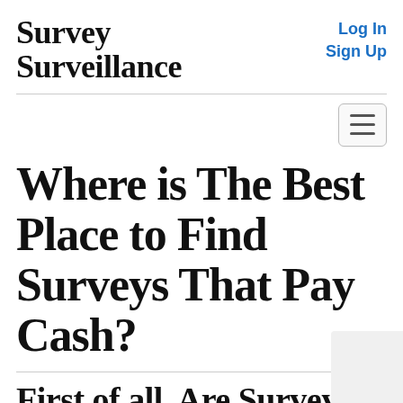Survey Surveillance
Log In
Sign Up
Where is The Best Place to Find Surveys That Pay Cash?
First of all, Are Surveys for Cash Legit?